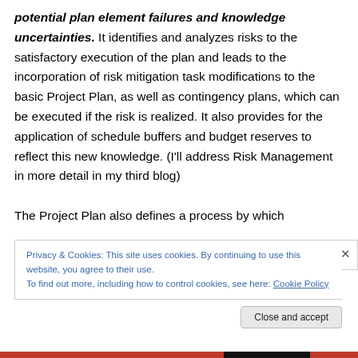potential plan element failures and knowledge uncertainties. It identifies and analyzes risks to the satisfactory execution of the plan and leads to the incorporation of risk mitigation task modifications to the basic Project Plan, as well as contingency plans, which can be executed if the risk is realized. It also provides for the application of schedule buffers and budget reserves to reflect this new knowledge. (I'll address Risk Management in more detail in my third blog)

The Project Plan also defines a process by which
Privacy & Cookies: This site uses cookies. By continuing to use this website, you agree to their use.
To find out more, including how to control cookies, see here: Cookie Policy
Close and accept